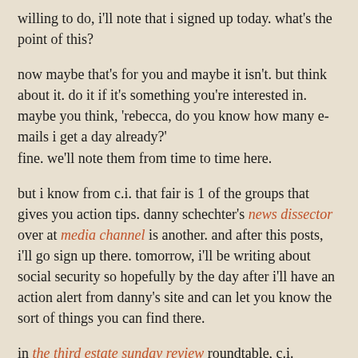willing to do, i'll note that i signed up today. what's the point of this?
now maybe that's for you and maybe it isn't. but think about it. do it if it's something you're interested in. maybe you think, 'rebecca, do you know how many e-mails i get a day already?' fine. we'll note them from time to time here.
but i know from c.i. that fair is 1 of the groups that gives you action tips. danny schechter's news dissector over at media channel is another. and after this posts, i'll go sign up there. tomorrow, i'll be writing about social security so hopefully by the day after i'll have an action alert from danny's site and can let you know the sort of things you can find there.
in the third estate sunday review roundtable, c.i. brought up the issue that just because a link's on a page some 1 visits doesn't mean that they'll click on the link. c.i. offered that they may not have the time or they may have privacy concerns.